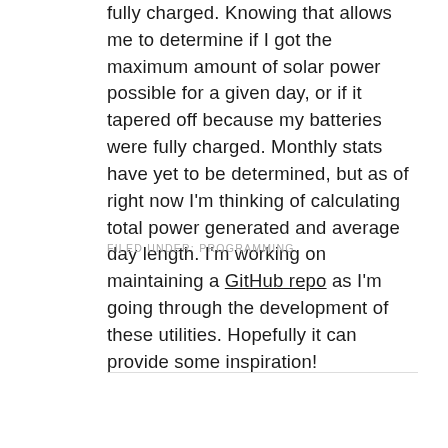fully charged. Knowing that allows me to determine if I got the maximum amount of solar power possible for a given day, or if it tapered off because my batteries were fully charged. Monthly stats have yet to be determined, but as of right now I'm thinking of calculating total power generated and average day length. I'm working on maintaining a GitHub repo as I'm going through the development of these utilities. Hopefully it can provide some inspiration!
FILED UNDER: PROGRAMMING